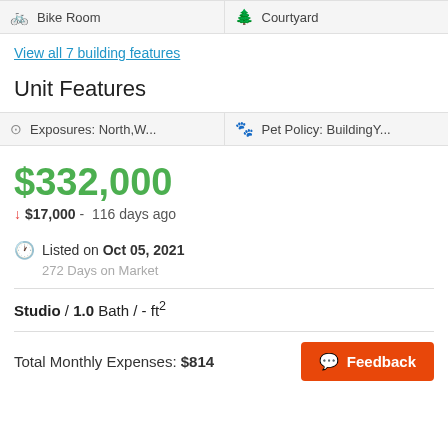Bike Room
Courtyard
View all 7 building features
Unit Features
Exposures: North,W...
Pet Policy: BuildingY...
$332,000
↓ $17,000 - 116 days ago
Listed on Oct 05, 2021
272 Days on Market
Studio / 1.0 Bath / - ft²
Total Monthly Expenses: $814
Feedback